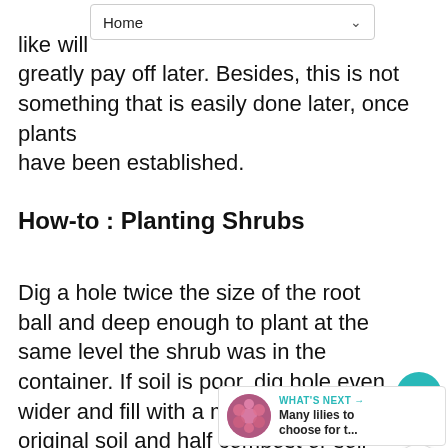Home
an ... like ... tremendous amounts of work now, but will greatly pay off later. Besides, this is not something that is easily done later, once plants have been established.
How-to : Planting Shrubs
Dig a hole twice the size of the root ball and deep enough to plant at the same level the shrub was in the container. If soil is poor, dig hole even wider and fill with a mixture half original soil and half compost or soil amendment.
WHAT'S NEXT → Many lilies to choose for t...